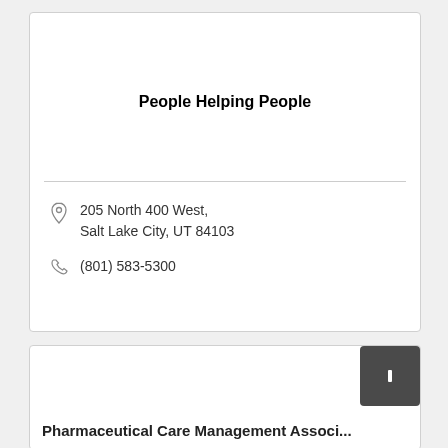People Helping People
205 North 400 West, Salt Lake City, UT 84103
(801) 583-5300
Pharmaceutical Care Management Associ...